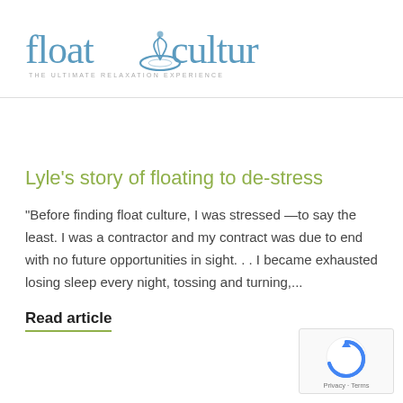[Figure (logo): Float Culture logo with text 'float culture' in blue/teal and a lotus/bowl icon, tagline 'THE ULTIMATE RELAXATION EXPERIENCE']
Lyle’s story of floating to de-stress
“Before finding float culture, I was stressed —to say the least.  I was a contractor and my contract was due to end with no future opportunities in sight. . . I became exhausted losing sleep every night, tossing and turning,...
Read article